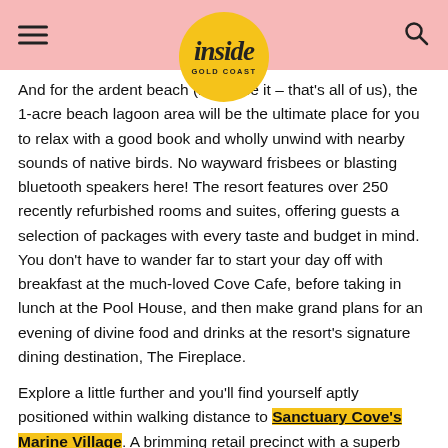inside GOLD COAST
And for the ardent beach (let's face it – that's all of us), the 1-acre beach lagoon area will be the ultimate place for you to relax with a good book and wholly unwind with nearby sounds of native birds. No wayward frisbees or blasting bluetooth speakers here! The resort features over 250 recently refurbished rooms and suites, offering guests a selection of packages with every taste and budget in mind. You don't have to wander far to start your day off with breakfast at the much-loved Cove Cafe, before taking in lunch at the Pool House, and then make grand plans for an evening of divine food and drinks at the resort's signature dining destination, The Fireplace.
Explore a little further and you'll find yourself aptly positioned within walking distance to Sanctuary Cove's Marine Village. A brimming retail precinct with a superb selection of specialty shops of beautiful homewares and